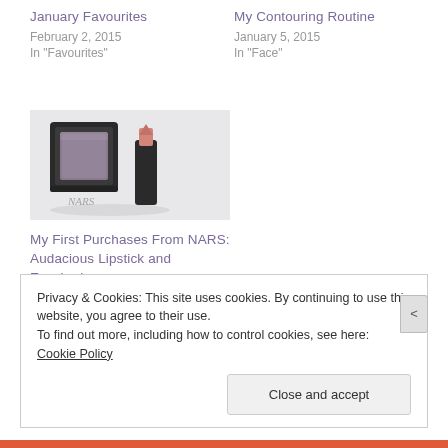January Favourites
February 2, 2015
In "Favourites"
My Contouring Routine
January 5, 2015
In "Face"
[Figure (photo): NARS cosmetics photo showing an eyeshadow compact and lipstick on a white surface with NARS branding visible]
My First Purchases From NARS: Audacious Lipstick and Eyeshadow
January 22, 2015
In "Eyes"
Privacy & Cookies: This site uses cookies. By continuing to use this website, you agree to their use.
To find out more, including how to control cookies, see here: Cookie Policy
Close and accept